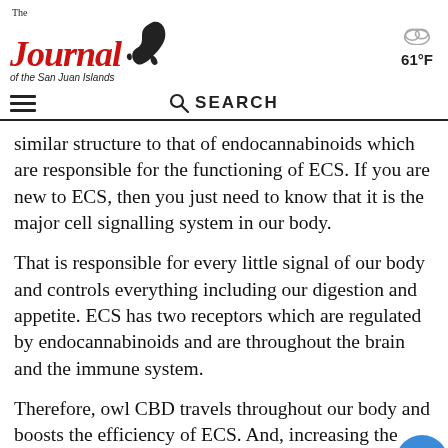The Journal of the San Juan Islands — 61°F
similar structure to that of endocannabinoids which are responsible for the functioning of ECS. If you are new to ECS, then you just need to know that it is the major cell signalling system in our body.
That is responsible for every little signal of our body and controls everything including our digestion and appetite. ECS has two receptors which are regulated by endocannabinoids and are throughout the brain and the immune system.
Therefore, owl CBD travels throughout our body and boosts the efficiency of ECS. And, increasing the activity and efficiency of ECS thereby improves the